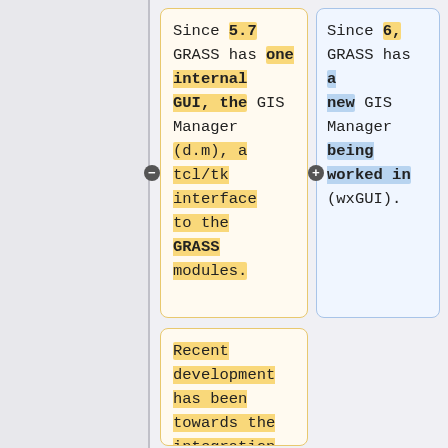Since 5.7 GRASS has one internal GUI, the GIS Manager (d.m), a tcl/tk interface to the GRASS modules.
Since 6, GRASS has a new GIS Manager being worked in (wxGUI).
Recent development has been towards the integration of access to GRASS data from